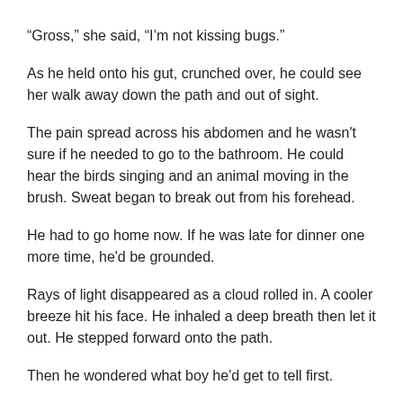“Gross,” she said, “I’m not kissing bugs.”
As he held onto his gut, crunched over, he could see her walk away down the path and out of sight.
The pain spread across his abdomen and he wasn't sure if he needed to go to the bathroom. He could hear the birds singing and an animal moving in the brush. Sweat began to break out from his forehead.
He had to go home now. If he was late for dinner one more time, he'd be grounded.
Rays of light disappeared as a cloud rolled in. A cooler breeze hit his face. He inhaled a deep breath then let it out. He stepped forward onto the path.
Then he wondered what boy he'd get to tell first.